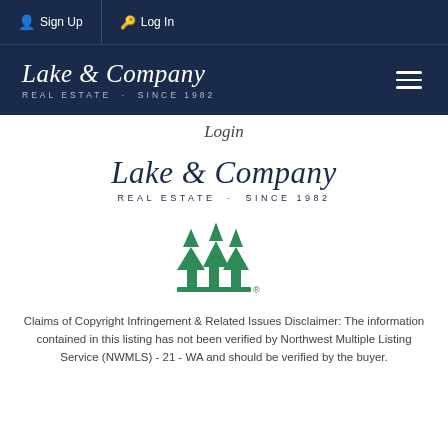Sign Up  Log In
[Figure (logo): Lake & Company Real Estate Since 1982 logo in white on dark navy header band with hamburger menu]
Login
[Figure (logo): Lake & Company Real Estate Since 1982 logo in navy blue text on white background]
[Figure (logo): NWMLS green tree/arrow logo mark]
Claims of Copyright Infringement & Related Issues Disclaimer: The information contained in this listing has not been verified by Northwest Multiple Listing Service (NWMLS) - 21 - WA and should be verified by the buyer.